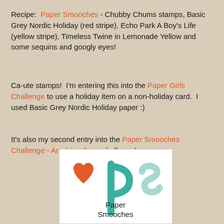Recipe:  Paper Smooches - Chubby Chums stamps, Basic Grey Nordic Holiday (red stripe), Echo Park A Boy's Life (yellow stripe), Timeless Twine in Lemonade Yellow and some sequins and googly eyes!
Ca-ute stamps!  I'm entering this into the Paper Girls Challenge to use a holiday item on a non-holiday card.  I used Basic Grey Nordic Holiday paper :)
It's also my second entry into the Paper Smooches Challenge - Anything Goes challenge!
[Figure (logo): Paper Smooches logo: orange/red heart on left, teal letter p in center with vertical bar, light teal letter s on right, text 'Paper Smooches' below center]